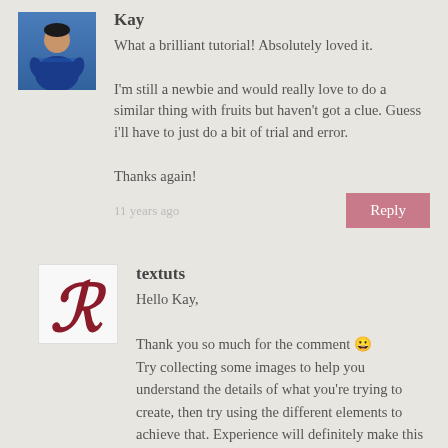[Figure (photo): Avatar photo of user Kay, showing a soccer player in blue jersey]
Kay
What a brilliant tutorial! Absolutely loved it.

I'm still a newbie and would really love to do a similar thing with fruits but haven't got a clue. Guess i'll have to just do a bit of trial and error.

Thanks again!
11 years ago
Reply
[Figure (logo): textuts logo: stylized letter R in dark red/maroon on white background]
textuts
Hello Kay,

Thank you so much for the comment 😀
Try collecting some images to help you understand the details of what you're trying to create, then try using the different elements to achieve that. Experience will definitely make this a lot more easier, but trial and error is one way of becoming more experienced 🙂
Hopefully you'll create a nice effect.

Thanks once again.